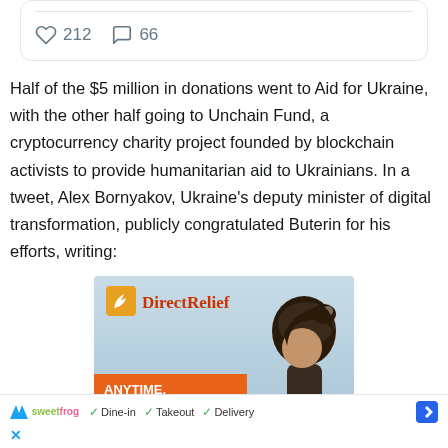[Figure (screenshot): Social media card showing heart icon with 212 likes and comment bubble icon with 66 comments]
Half of the $5 million in donations went to Aid for Ukraine, with the other half going to Unchain Fund, a cryptocurrency charity project founded by blockchain activists to provide humanitarian aid to Ukrainians. In a tweet, Alex Bornyakov, Ukraine's deputy minister of digital transformation, publicly congratulated Buterin for his efforts, writing:
[Figure (photo): DirectRelief advertisement showing logo with orange bird/leaf icon and red text, and an orange banner reading ANYTIME. ANYWHERE. ANYONE IN NEED. with a woman with dark hair in a bun on the right side.]
[Figure (screenshot): Bottom ad bar for sweetFrog with checkmarks for Dine-in, Takeout, Delivery and a blue navigation arrow icon, with a blue X close button below]